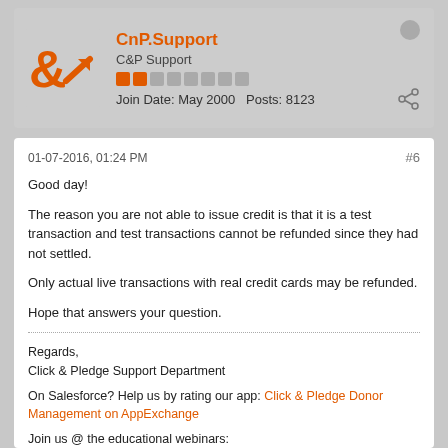[Figure (other): User avatar: orange C&P logo with arrow]
CnP.Support
C&P Support
Join Date: May 2000   Posts: 8123
01-07-2016, 01:24 PM
#6
Good day!

The reason you are not able to issue credit is that it is a test transaction and test transactions cannot be refunded since they had not settled.

Only actual live transactions with real credit cards may be refunded.

Hope that answers your question.
Regards,
Click & Pledge Support Department

On Salesforce? Help us by rating our app: Click & Pledge Donor Management on AppExchange

Join us @ the educational webinars: https://clickandpledge.com/webinars/
Live Support available Join between 3:00 - 3:30 p.m. ET Monday - Thursday:
https://clickandpledge.com/webinars/
Are you on Salesforce? Join us at the Power of Us Hub:
https://powerofus.force.com/0F98000000CipC